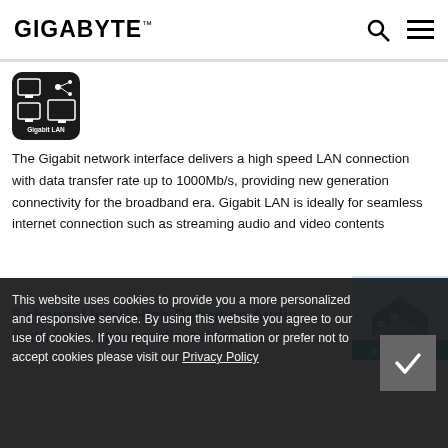GIGABYTE
[Figure (logo): Gigabit LAN logo — black rounded square with network/monitor icons and 'Gigabit LAN' text]
The Gigabit network interface delivers a high speed LAN connection with data transfer rate up to 1000Mb/s, providing new generation connectivity for the broadband era. Gigabit LAN is ideally for seamless internet connection such as streaming audio and video contents
[Figure (illustration): 3D Industry promotional banner — isometric 3D factory/industry scene with '3D INDUSTRY >' label in teal/blue]
8 channel Intel® High Definition Audio (with front panel audio cable)
This website uses cookies to provide you a more personalized and responsive service. By using this website you agree to our use of cookies. If you require more information or prefer not to accept cookies please visit our Privacy Policy
Audio delivers multiple audio channels in your PC